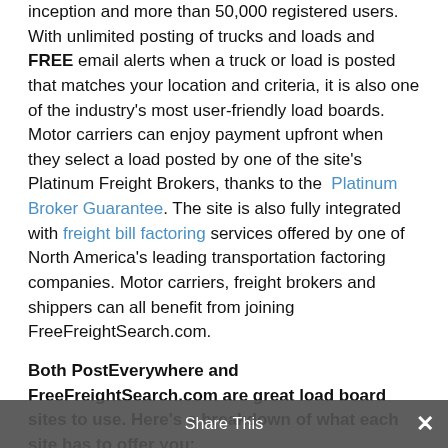inception and more than 50,000 registered users. With unlimited posting of trucks and loads and FREE email alerts when a truck or load is posted that matches your location and criteria, it is also one of the industry's most user-friendly load boards. Motor carriers can enjoy payment upfront when they select a load posted by one of the site's Platinum Freight Brokers, thanks to the Platinum Broker Guarantee. The site is also fully integrated with freight bill factoring services offered by one of North America's leading transportation factoring companies. Motor carriers, freight brokers and shippers can all benefit from joining FreeFreightSearch.com.
Both PostEverywhere and FreeFreightSearch.com are great load board sites to use. Here's a breakdown of what each site has to offer you:
PostEverywhere Features
Post and search through thousands of available trucks and loads.
Web based system is easy to access – no